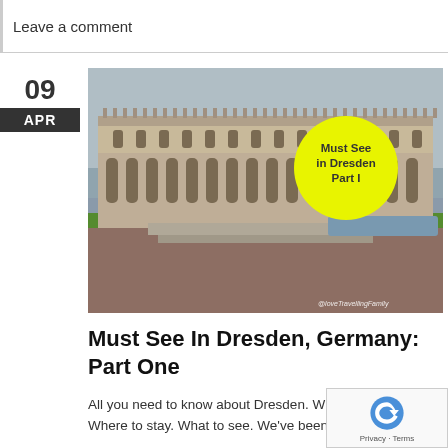Leave a comment
[Figure (photo): Photograph of the Zwinger palace in Dresden, Germany with a yellow circular badge overlay reading 'Must See in Dresden Part I' and a watermark '@loveTravellingFamily' in the bottom right corner]
Must See In Dresden, Germany: Part One
All you need to know about Dresden. When to visit. Where to stay. What to see. We've been, we've d...